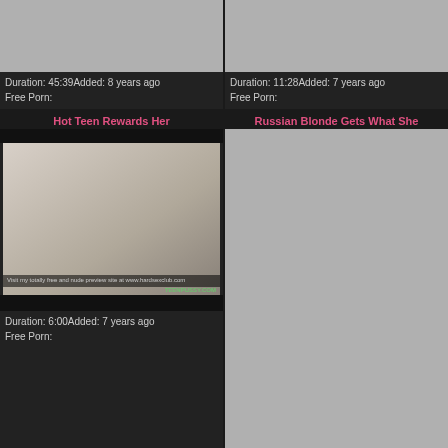[Figure (screenshot): Top-left video card: gray thumbnail placeholder, Duration: 45:39 Added: 8 years ago, Free Porn:]
[Figure (screenshot): Top-right video card: gray thumbnail placeholder, Duration: 11:28 Added: 7 years ago, Free Porn:]
[Figure (screenshot): Middle-left video card: Hot Teen Rewards Her, thumbnail showing two people kissing, Duration: 6:00 Added: 7 years ago, Free Porn:]
[Figure (screenshot): Middle-right video card: Russian Blonde Gets What She, gray thumbnail, Duration: 8:02 Added: 8 years ago, Free Porn: anal amateur russian teen]
[Figure (screenshot): Bottom-left video card: Cute russian teen slut Evelina, dark preview thumbnail]
[Figure (screenshot): Bottom-right video card: Monica b Full video HD, dark preview thumbnail]